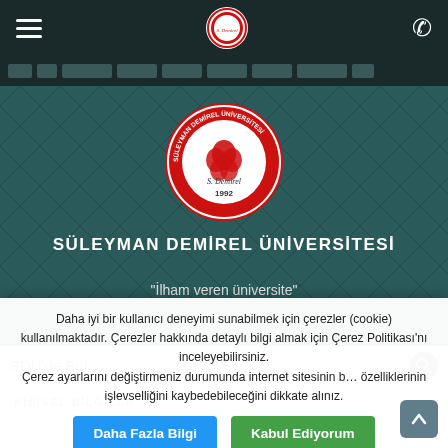Süleyman Demirel Üniversitesi - Navigation bar
[Figure (logo): Süleyman Demirel Üniversitesi circular seal/logo with red rose design and text 'S. Demirel 1992']
SÜLEYMAN DEMİREL ÜNİVERSİTESİ
"İlham veren üniversite"
SDÜ'de Bul
KİŞİSEL BİLGİLER
Daha iyi bir kullanıcı deneyimi sunabilmek için çerezler (cookie) kullanılmaktadır. Çerezler hakkında detaylı bilgi almak için Çerez Politikası'nı inceleyebilirsiniz.
Çerez ayarlarını değiştirmeniz durumunda internet sitesinin bazı özelliklerinin işlevselliğini kaybedebileceğini dikkate alınız.
Daha Fazla Bilgi
Kabul Ediyorum